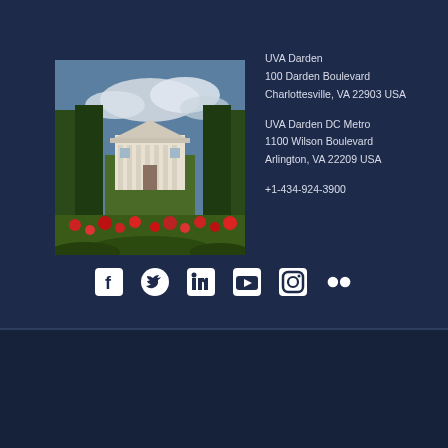[Figure (photo): Photograph of UVA Darden building exterior with trees and red flowers in foreground]
UVA Darden
100 Darden Boulevard
Charlottesville, VA 22903 USA
UVA Darden DC Metro
1100 Wilson Boulevard
Arlington, VA 22209 USA
+1-434-924-3900
[Figure (infographic): Social media icons: Facebook, Twitter, LinkedIn, YouTube, Instagram, Flickr]
University Safety   Privacy Policy & Copyright   Academic Policies & Procedures